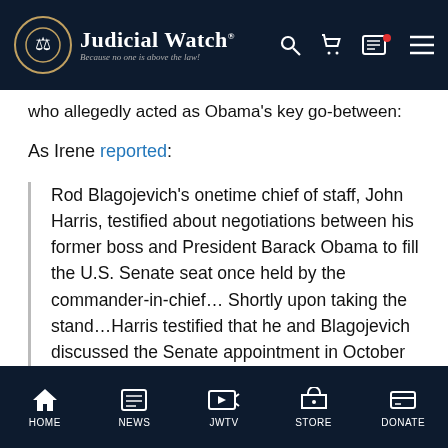Judicial Watch — Because no one is above the law!
who allegedly acted as Obama's key go-between:
As Irene reported:
Rod Blagojevich's onetime chief of staff, John Harris, testified about negotiations between his former boss and President Barack Obama to fill the U.S. Senate seat once held by the commander-in-chief... Shortly upon taking the stand...Harris testified that he and Blagojevich discussed the Senate appointment in October 2008
HOME  NEWS  JWTV  STORE  DONATE